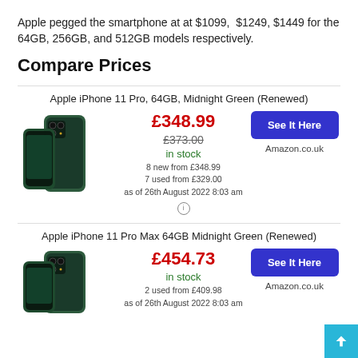Apple pegged the smartphone at at $1099, $1249, $1449 for the 64GB, 256GB, and 512GB models respectively.
Compare Prices
Apple iPhone 11 Pro, 64GB, Midnight Green (Renewed)
[Figure (photo): Apple iPhone 11 Pro Midnight Green product photo showing front and back]
£348.99
£373.00
in stock
8 new from £348.99
7 used from £329.00
as of 26th August 2022 8:03 am
See It Here
Amazon.co.uk
Apple iPhone 11 Pro Max 64GB Midnight Green (Renewed)
[Figure (photo): Apple iPhone 11 Pro Max Midnight Green product photo]
£454.73
in stock
2 used from £409.98
as of 26th August 2022 8:03 am
See It Here
Amazon.co.uk